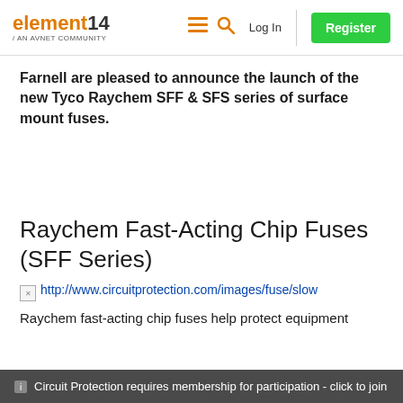element14 / AN AVNET COMMUNITY | Log In | Register
Farnell are pleased to announce the launch of the new Tyco Raychem SFF & SFS series of surface mount fuses.
Raychem Fast-Acting Chip Fuses (SFF Series)
[Figure (screenshot): Broken image link to http://www.circuitprotection.com/images/fuse/slow... with image icon visible]
Circuit Protection requires membership for participation - click to join
Raychem fast-acting chip fuses help protect equipment